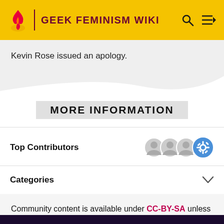GEEK FEMINISM WIKI
Kevin Rose issued an apology.
MORE INFORMATION
Top Contributors
Categories
Community content is available under CC-BY-SA unless otherwise noted.